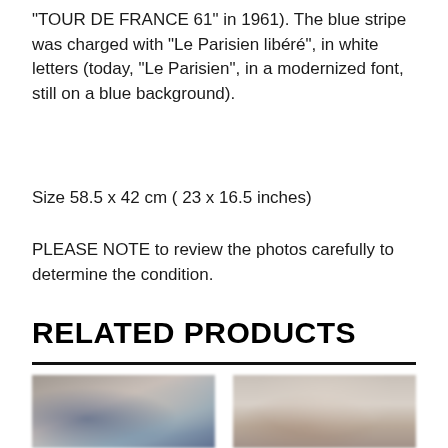"TOUR DE FRANCE 61" in 1961). The blue stripe was charged with "Le Parisien libéré", in white letters (today, "Le Parisien", in a modernized font, still on a blue background).
Size 58.5 x 42 cm ( 23 x 16.5 inches)
PLEASE NOTE to review the photos carefully to determine the condition.
RELATED PRODUCTS
[Figure (photo): Blurred product image on the left showing what appears to be a cycling-related poster or item with blue and dark tones]
[Figure (photo): Blurred product image on the right showing what appears to be a light-colored cycling-related item or poster]